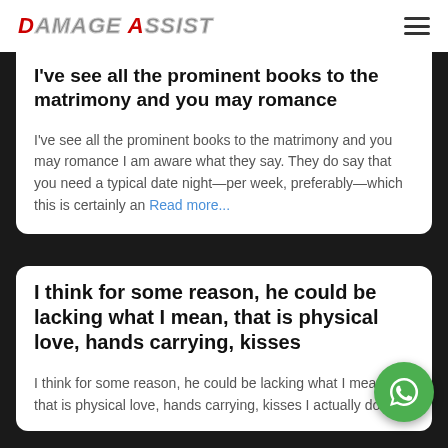DAMAGE ASSIST
I've see all the prominent books to the matrimony and you may romance
I've see all the prominent books to the matrimony and you may romance I am aware what they say. They do say that you need a typical date night—per week, preferably—which this is certainly an Read more...
I think for some reason, he could be lacking what I mean, that is physical love, hands carrying, kisses
I think for some reason, he could be lacking what I mean, that is physical love, hands carrying, kisses I actually do